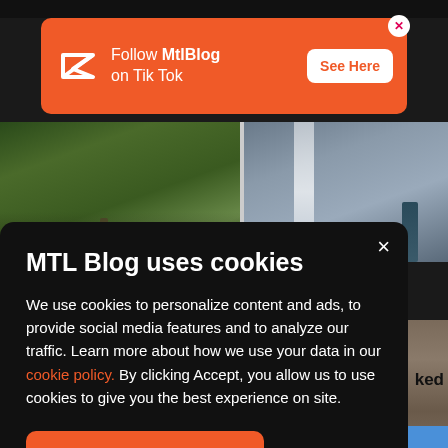[Figure (screenshot): Orange advertisement banner for MtlBlog TikTok with logo, text 'Follow MtlBlog on Tik Tok' and 'See Here' button]
[Figure (photo): Nature photos showing forest/hiking scenes with waterfalls and rocks]
MTL Blog uses cookies
We use cookies to personalize content and ads, to provide social media features and to analyze our traffic. Learn more about how we use your data in our cookie policy. By clicking Accept, you allow us to use cookies to give you the best experience on site.
Accept